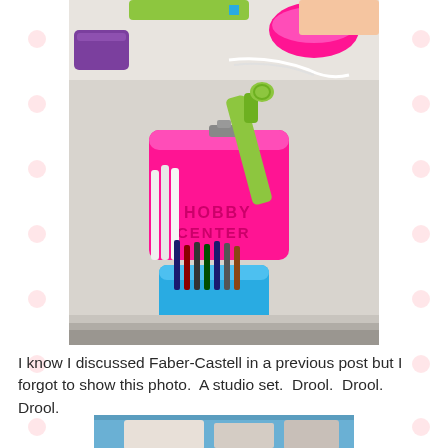[Figure (photo): Photo of colorful craft supply organizers on a table — hot pink silicone caddy with green scissors, teal/blue cup with pens, purple basket, green tray, and pink bowl in background. Labeled 'HOBBY' on the pink caddy.]
I know I discussed Faber-Castell in a previous post but I forgot to show this photo.  A studio set.  Drool.  Drool.  Drool.
[Figure (photo): Partial photo at bottom showing a Faber-Castell studio set display.]